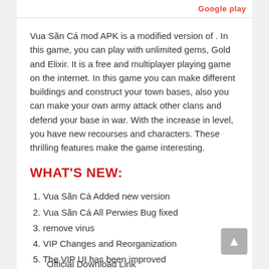Get it on  Google play
Vua Săn Cá mod APK is a modified version of . In this game, you can play with unlimited gems, Gold and Elixir. It is a free and multiplayer playing game on the internet. In this game you can make different buildings and construct your town bases, also you can make your own army attack other clans and defend your base in war. With the increase in level, you have new recourses and characters. These thrilling features make the game interesting.
WHAT'S NEW:
1. Vua Săn Cá Added new version
2. Vua Săn Cá All Perwies Bug fixed
3. remove virus
4. VIP Changes and Reorganization
5. The VIP UI has been improved
Official Download Link